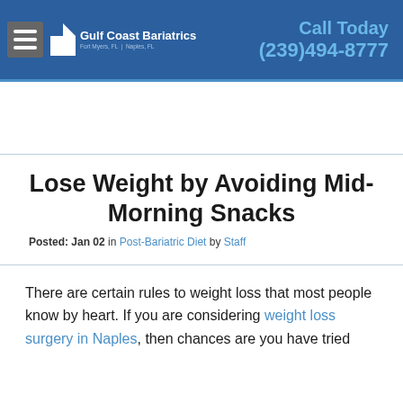Gulf Coast Bariatrics | Fort Myers, FL | Naples, FL | Call Today (239)494-8777
Lose Weight by Avoiding Mid-Morning Snacks
Posted: Jan 02 in Post-Bariatric Diet by Staff
There are certain rules to weight loss that most people know by heart. If you are considering weight loss surgery in Naples, then chances are you have tried